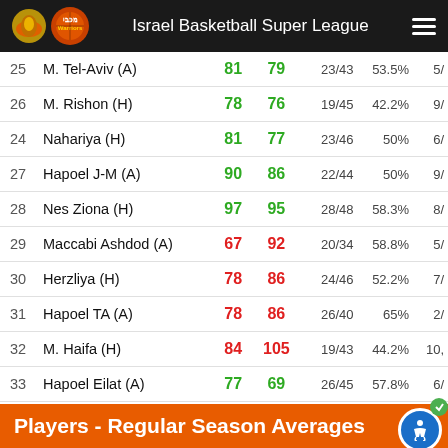Israel Basketball Super League
| # | Opponent | Us | Them | FG | FG% |  |
| --- | --- | --- | --- | --- | --- | --- |
| 25 | M. Tel-Aviv (A) | 81 | 79 | 23/43 | 53.5% | 5/ |
| 26 | M. Rishon (H) | 78 | 76 | 19/45 | 42.2% | 9/ |
| 24 | Nahariya (H) | 81 | 77 | 23/46 | 50% | 6/ |
| 27 | Hapoel J-M (A) | 90 | 86 | 22/44 | 50% | 9/ |
| 28 | Nes Ziona (H) | 97 | 95 | 28/48 | 58.3% | 8/ |
| 29 | Maccabi Ashdod (A) | 67 | 92 | 20/34 | 58.8% | 5/ |
| 30 | Herzliya (H) | 78 | 86 | 24/46 | 52.2% | 7/ |
| 31 | Hapoel TA (A) | 78 | 86 | 26/40 | 65% | 2/ |
| 32 | M. Haifa (H) | 84 | 105 | 19/43 | 44.2% | 10, |
| 33 | Hapoel Eilat (A) | 77 | 69 | 26/45 | 57.8% | 6/ |
Players - Regular Season Averages